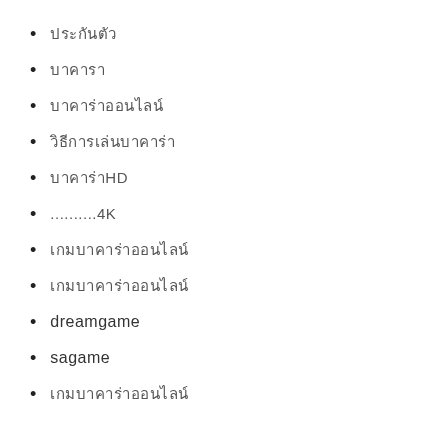ประกันตัว
บาคารา
บาคาร่าออนไลน์
วิธีการเล่นบาคาร่า
บาคาร่าHD
..........4K
เกมบาคาร่าออนไลน์
เกมบาคาร่าออนไลน์
dreamgame
sagame
เกมบาคาร่าออนไลน์